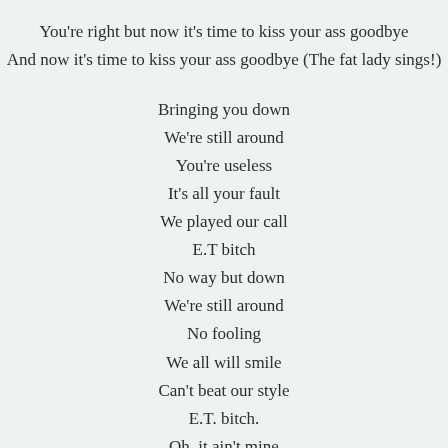You're right but now it's time to kiss your ass goodbye
And now it's time to kiss your ass goodbye (The fat lady sings!)
Bringing you down
We're still around
You're useless
It's all your fault
We played our call
E.T bitch
No way but down
We're still around
No fooling
We all will smile
Can't beat our style
E.T. bitch.
Oh, it ain't mine